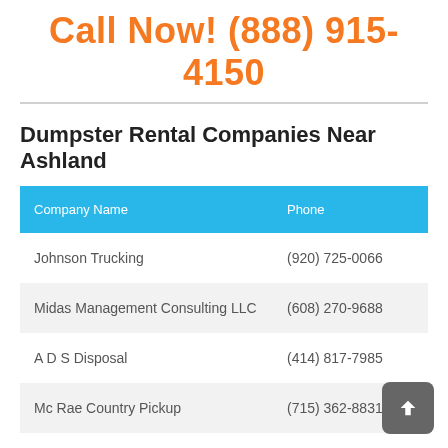Call Now! (888) 915-4150
Dumpster Rental Companies Near Ashland
| Company Name | Phone |
| --- | --- |
| Johnson Trucking | (920) 725-0066 |
| Midas Management Consulting LLC | (608) 270-9688 |
| A D S Disposal | (414) 817-7985 |
| Mc Rae Country Pickup | (715) 362-8831 |
| LB Medwaste | (715) 842-2048 |
| Royal Container Service | (608) 221-1919 |